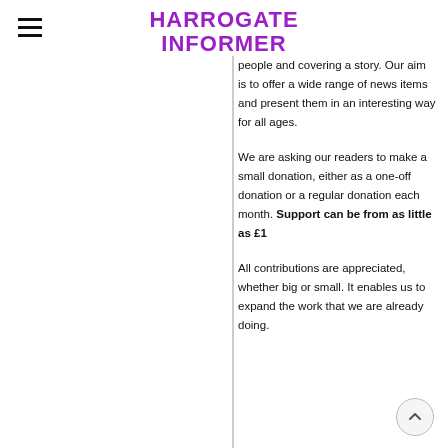HARROGATE INFORMER
people and covering a story. Our aim is to offer a wide range of news items and present them in an interesting way for all ages.
We are asking our readers to make a small donation, either as a one-off donation or a regular donation each month. Support can be from as little as £1
All contributions are appreciated, whether big or small. It enables us to expand the work that we are already doing.